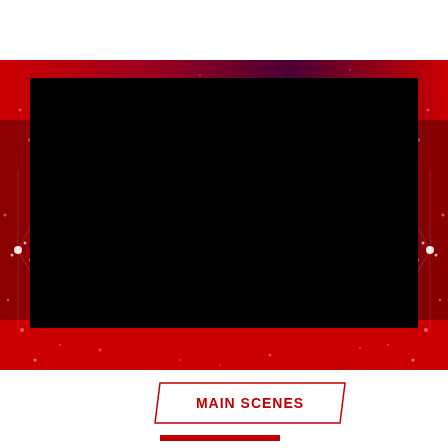[Figure (illustration): A black rectangular video frame/screen placeholder centered on a decorative red background with sparkle/circuit-like white dot patterns on the sides and gradient from red to dark maroon across the top.]
MAIN SCENES